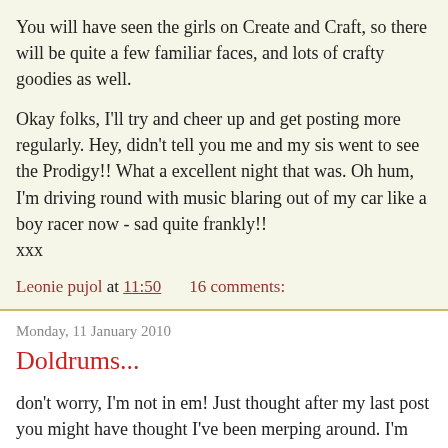You will have seen the girls on Create and Craft, so there will be quite a few familiar faces, and lots of crafty goodies as well.
Okay folks, I'll try and cheer up and get posting more regularly. Hey, didn't tell you me and my sis went to see the Prodigy!! What a excellent night that was. Oh hum, I'm driving round with music blaring out of my car like a boy racer now - sad quite frankly!!
xxx
Leonie pujol at 11:50    16 comments:
Monday, 11 January 2010
Doldrums...
don't worry, I'm not in em! Just thought after my last post you might have thought I've been merping around. I'm not, I'm busy and enjoying being at home, so it's onwards and upwards and lots of forward thinking (okay, more tv than normal which is naughty, but hoy hoo!). I didn't want